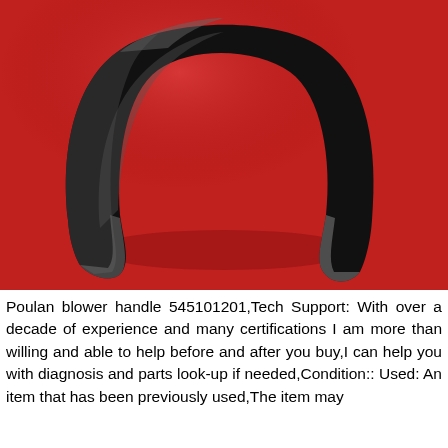[Figure (photo): A black curved handle (Poulan blower handle 545101201) shaped like an arch/U, photographed on a red background. The handle is dark/black rubber or plastic, with metal ends visible at the bottom of the arch.]
Poulan blower handle 545101201,Tech Support: With over a decade of experience and many certifications I am more than willing and able to help before and after you buy,I can help you with diagnosis and parts look-up if needed,Condition:: Used: An item that has been previously used,The item may